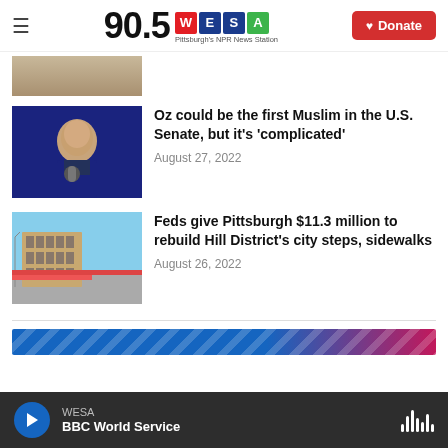90.5 WESA Pittsburgh's NPR News Station | Donate
[Figure (photo): Partial news thumbnail at top, cropped]
Oz could be the first Muslim in the U.S. Senate, but it's 'complicated'
August 27, 2022
Feds give Pittsburgh $11.3 million to rebuild Hill District's city steps, sidewalks
August 26, 2022
[Figure (photo): Partial blue and pink banner at bottom of content area]
WESA | BBC World Service